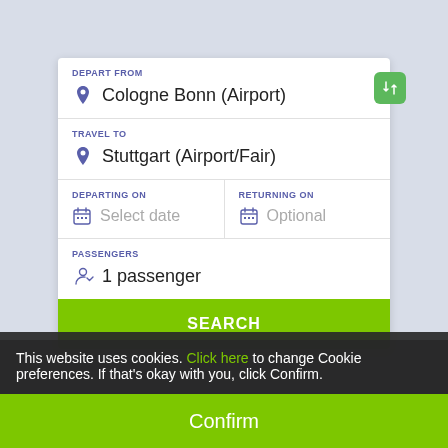DEPART FROM
Cologne Bonn (Airport)
TRAVEL TO
Stuttgart (Airport/Fair)
DEPARTING ON
Select date
RETURNING ON
Optional
PASSENGERS
1 passenger
SEARCH
This website uses cookies. Click here to change Cookie preferences. If that's okay with you, click Confirm.
Confirm
Menu   My tickets   Search